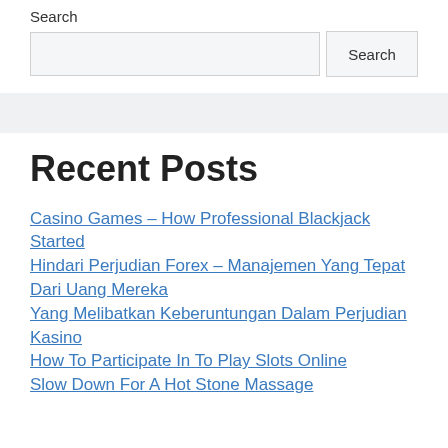Search
Search [input field] Search [button]
Recent Posts
Casino Games – How Professional Blackjack Started
Hindari Perjudian Forex – Manajemen Yang Tepat Dari Uang Mereka
Yang Melibatkan Keberuntungan Dalam Perjudian Kasino
How To Participate In To Play Slots Online
Slow Down For A Hot Stone Massage